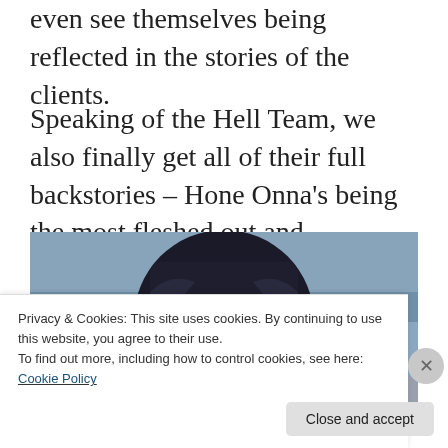even see themselves being reflected in the stories of the clients.
Speaking of the Hell Team, we also finally get all of their full backstories – Hone Onna's being the most fleshed out and interesting, but all of the stories being pretty good.
[Figure (illustration): Anime-style screenshot showing a dark-clothed character from behind, with a blue-grey background]
Privacy & Cookies: This site uses cookies. By continuing to use this website, you agree to their use.
To find out more, including how to control cookies, see here: Cookie Policy
Close and accept